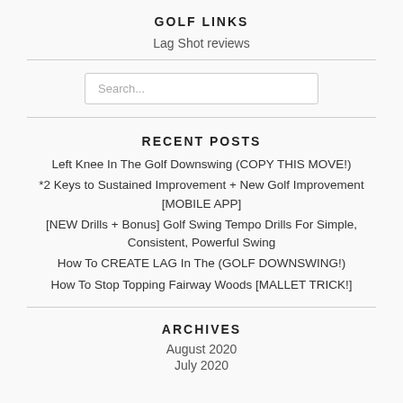GOLF LINKS
Lag Shot reviews
Search...
RECENT POSTS
Left Knee In The Golf Downswing (COPY THIS MOVE!)
*2 Keys to Sustained Improvement + New Golf Improvement [MOBILE APP]
[NEW Drills + Bonus] Golf Swing Tempo Drills For Simple, Consistent, Powerful Swing
How To CREATE LAG In The (GOLF DOWNSWING!)
How To Stop Topping Fairway Woods [MALLET TRICK!]
ARCHIVES
August 2020
July 2020